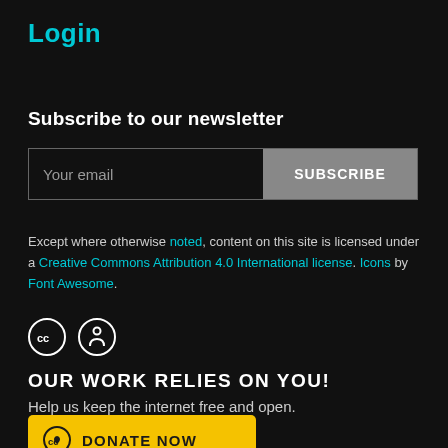Login
Subscribe to our newsletter
[Figure (other): Email subscription form with 'Your email' input field and 'SUBSCRIBE' button]
Except where otherwise noted, content on this site is licensed under a Creative Commons Attribution 4.0 International license. Icons by Font Awesome.
[Figure (other): Creative Commons CC and Attribution icons (two circles with CC and person symbols)]
OUR WORK RELIES ON YOU!
Help us keep the internet free and open.
[Figure (other): Yellow DONATE NOW button with Creative Commons heart-CC logo]